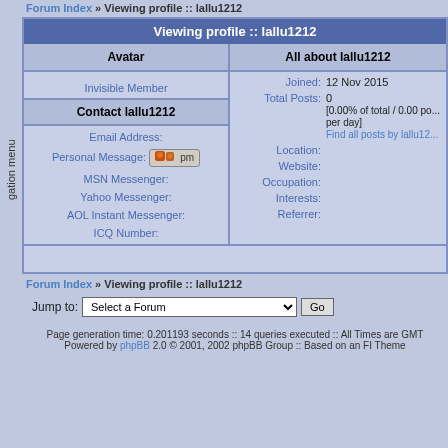Forum Index » Viewing profile :: lallu1212
Viewing profile :: lallu1212
| Avatar | All about lallu1212 |
| --- | --- |
| Invisible Member | Joined: 12 Nov 2015 |
| Contact lallu1212 | Total Posts: 0
[0.00% of total / 0.00 posts per day]
Find all posts by lallu1212 |
| Email Address: | Location: |
| Personal Message: [pm] | Website: |
| MSN Messenger: | Occupation: |
| Yahoo Messenger: | Interests: |
| AOL Instant Messenger: | Referrer: |
| ICQ Number: |  |
Forum Index » Viewing profile :: lallu1212
Jump to: Select a Forum  Go
Page generation time: 0.201193 seconds :: 14 queries executed :: All Times are GMT
Powered by phpBB 2.0 © 2001, 2002 phpBB Group :: Based on an FI Theme